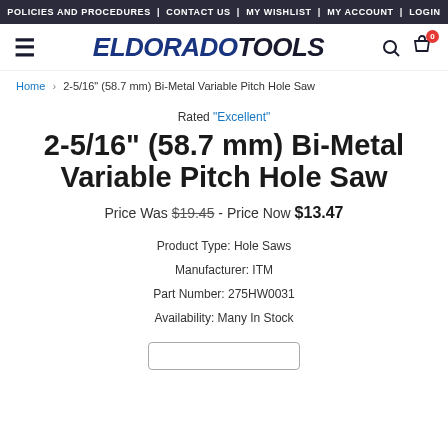POLICIES AND PROCEDURES | CONTACT US | MY WISHLIST | MY ACCOUNT | LOGIN
[Figure (logo): Eldorado Tools logo with hamburger menu, search icon, and cart icon with badge 0]
Home › 2-5/16" (58.7 mm) Bi-Metal Variable Pitch Hole Saw
Rated "Excellent"
2-5/16" (58.7 mm) Bi-Metal Variable Pitch Hole Saw
Price Was $19.45 - Price Now $13.47
Product Type: Hole Saws
Manufacturer: ITM
Part Number: 275HW0031
Availability: Many In Stock